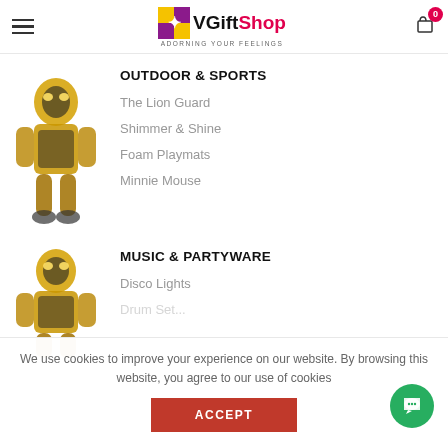VGiftShop — Adorning Your Feelings
[Figure (illustration): Yellow robot (Bumblebee Transformer) toy figure, blurred background]
OUTDOOR & SPORTS
The Lion Guard
Shimmer & Shine
Foam Playmats
Minnie Mouse
[Figure (illustration): Yellow robot (Bumblebee Transformer) toy figure, second instance]
MUSIC & PARTYWARE
Disco Lights
We use cookies to improve your experience on our website. By browsing this website, you agree to our use of cookies
ACCEPT